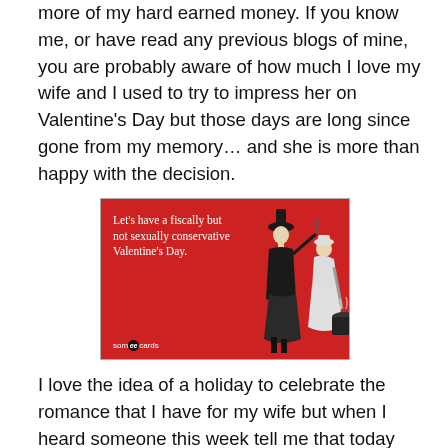more of my hard earned money. If you know me, or have read any previous blogs of mine, you are probably aware of how much I love my wife and I used to try to impress her on Valentine's Day but those days are long since gone from my memory… and she is more than happy with the decision.
[Figure (illustration): A red someecards image with text 'Let's have a fiscally but not sexually conservative Valentine's Day.' and a vintage illustration of two figures, one stirring a cauldron.]
I love the idea of a holiday to celebrate the romance that I have for my wife but when I heard someone this week tell me that today was a day set aside to show my love how much she meant to me I was in awe. Is that what you